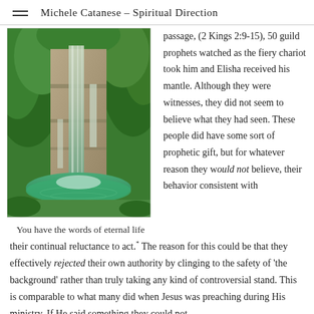Michele Catanese – Spiritual Direction
[Figure (photo): A waterfall cascading over rocky ledges into a pool of green water, surrounded by lush tropical green vegetation.]
You have the words of eternal life
passage, (2 Kings 2:9-15), 50 guild prophets watched as the fiery chariot took him and Elisha received his mantle. Although they were witnesses, they did not seem to believe what they had seen. These people did have some sort of prophetic gift, but for whatever reason they would not believe, their behavior consistent with their continual reluctance to act.* The reason for this could be that they effectively rejected their own authority by clinging to the safety of 'the background' rather than truly taking any kind of controversial stand. This is comparable to what many did when Jesus was preaching during His ministry. If He said something they could not